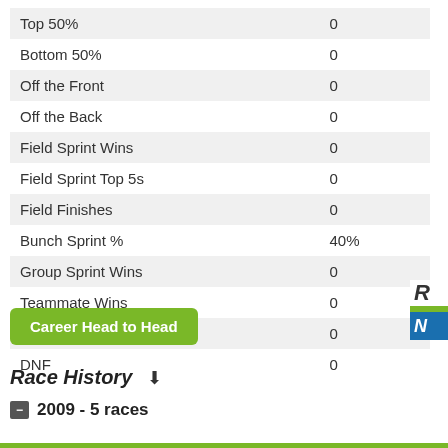| Stat | Value |
| --- | --- |
| Top 50% | 0 |
| Bottom 50% | 0 |
| Off the Front | 0 |
| Off the Back | 0 |
| Field Sprint Wins | 0 |
| Field Sprint Top 5s | 0 |
| Field Finishes | 0 |
| Bunch Sprint % | 40% |
| Group Sprint Wins | 0 |
| Teammate Wins | 0 |
| Teammate Top 5s | 0 |
| DNF | 0 |
Career Head to Head
Race History
2009 - 5 races